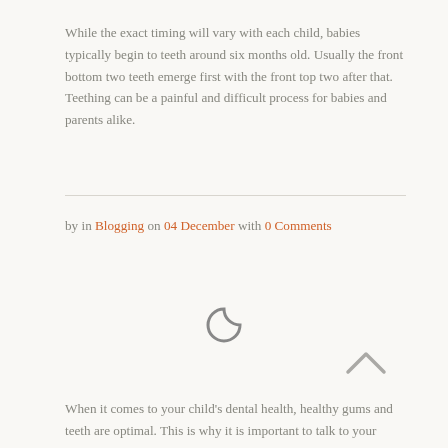While the exact timing will vary with each child, babies typically begin to teeth around six months old. Usually the front bottom two teeth emerge first with the front top two after that. Teething can be a painful and difficult process for babies and parents alike.
by in Blogging on 04 December with 0 Comments
[Figure (other): Loading spinner icon (circular C-shaped arc)]
[Figure (other): Up caret / chevron icon pointing upward]
When it comes to your child's dental health, healthy gums and teeth are optimal. This is why it is important to talk to your child's dentist about good dental habits even before their first...